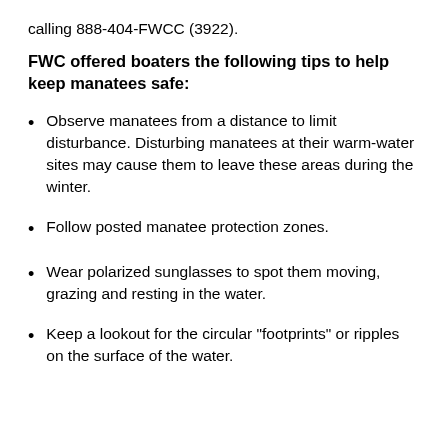calling 888-404-FWCC (3922).
FWC offered boaters the following tips to help keep manatees safe:
Observe manatees from a distance to limit disturbance. Disturbing manatees at their warm-water sites may cause them to leave these areas during the winter.
Follow posted manatee protection zones.
Wear polarized sunglasses to spot them moving, grazing and resting in the water.
Keep a lookout for the circular "footprints" or ripples on the surface of the water.